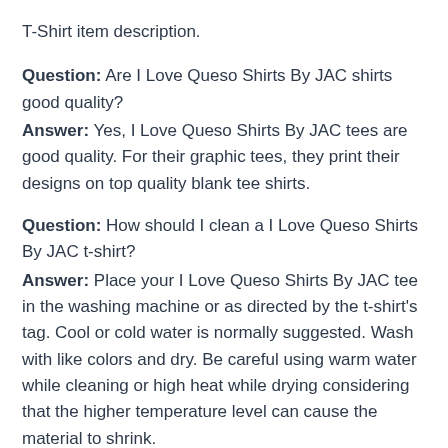T-Shirt item description.
Question: Are I Love Queso Shirts By JAC shirts good quality?
Answer: Yes, I Love Queso Shirts By JAC tees are good quality. For their graphic tees, they print their designs on top quality blank tee shirts.
Question: How should I clean a I Love Queso Shirts By JAC t-shirt?
Answer: Place your I Love Queso Shirts By JAC tee in the washing machine or as directed by the t-shirt's tag. Cool or cold water is normally suggested. Wash with like colors and dry. Be careful using warm water while cleaning or high heat while drying considering that the higher temperature level can cause the material to shrink.